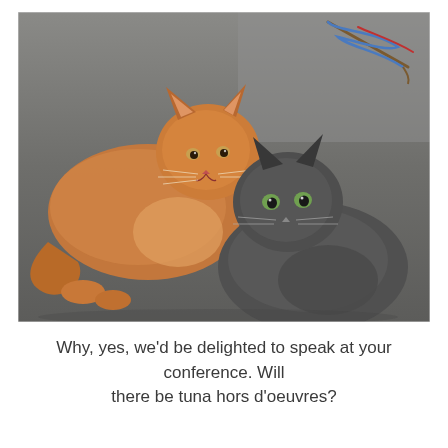[Figure (photo): Two cats lying on a gray carpet: a fluffy orange/ginger long-haired cat on the left looking toward the camera, and a dark gray short-haired cat on the right with green eyes looking up at the camera. In the upper right corner there are cat toys (a stick with a blue and red ribbon/wand).]
Why, yes, we'd be delighted to speak at your conference. Will there be tuna hors d'oeuvres?